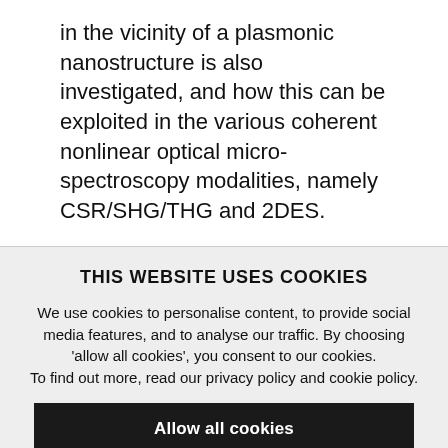in the vicinity of a plasmonic nanostructure is also investigated, and how this can be exploited in the various coherent nonlinear optical micro-spectroscopy modalities, namely CSR/SHG/THG and 2DES.
THIS WEBSITE USES COOKIES
We use cookies to personalise content, to provide social media features, and to analyse our traffic. By choosing 'allow all cookies', you consent to our cookies. To find out more, read our privacy policy and cookie policy.
Allow all cookies
Use necessary cookies only